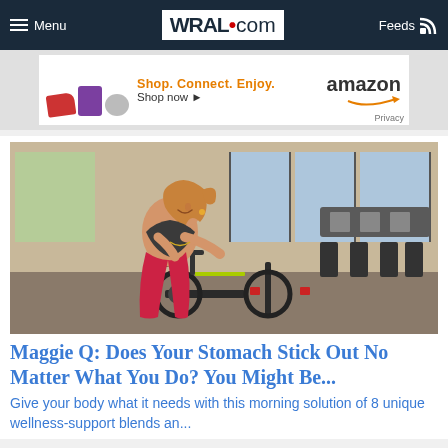Menu | WRAL.com | Feeds
[Figure (photo): Amazon advertisement banner with purple bag, red sneaker, and game controller. Text reads: Shop. Connect. Enjoy. amazon Shop now. Privacy.]
[Figure (photo): Woman in red workout pants and sports bra smiling while sitting on a spin bike in a gym with multiple exercise bikes and large windows. Exercise equipment visible in background.]
Maggie Q: Does Your Stomach Stick Out No Matter What You Do? You Might Be...
Give your body what it needs with this morning solution of 8 unique wellness-support blends an...